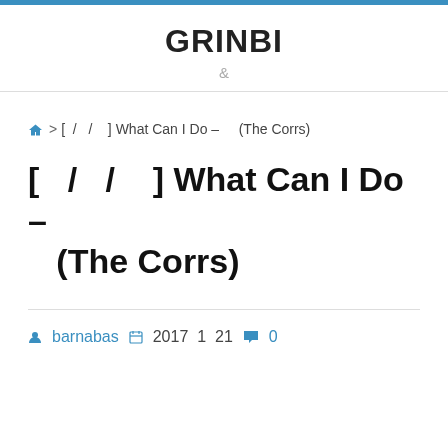GRINBI &
🏠 > [ / / ] What Can I Do – (The Corrs)
[ / / ] What Can I Do – (The Corrs)
barnabas 2017 1 21 0